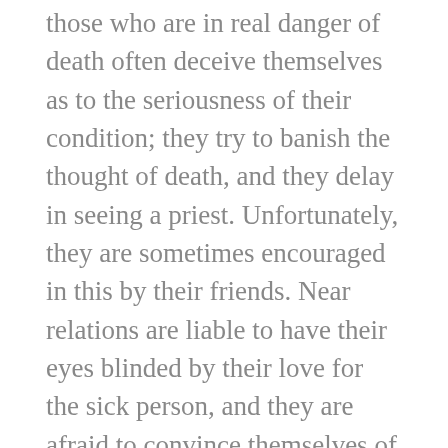those who are in real danger of death often deceive themselves as to the seriousness of their condition; they try to banish the thought of death, and they delay in seeing a priest. Unfortunately, they are sometimes encouraged in this by their friends. Near relations are liable to have their eyes blinded by their love for the sick person, and they are afraid to convince themselves of the fact that he is going to die. They may not notice the change for the worse that is gradually taking place, while a passing visitor would perceive it at once. It happens also that doctors sometimes do not realize their grave obligations in this matter; they tell the patient not to be over-anxious, and they give the relations evasive or false answers, though they know well the end is near. Hence we should not postpone sending for a priest till the doctor gives the patient up as hopeless. Long